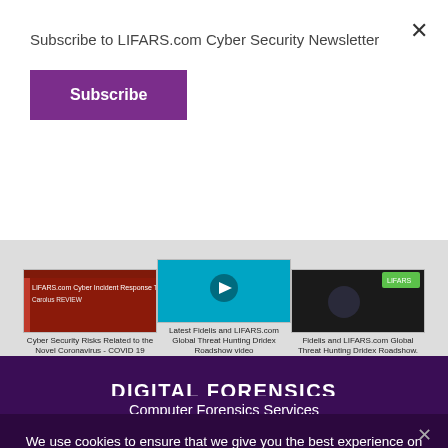Subscribe to LIFARS.com Cyber Security Newsletter
Subscribe
[Figure (screenshot): Three thumbnail images in a strip: 'Cyber Security Risks Related to the Novel Coronavirus - COVID 19', 'Latest Fidelis and LIFARS.com Global Threat Hunting Dridex Roadshow video', 'Fidelis and LIFARS.com Global Threat Hunting Dridex Roadshow.']
DIGITAL FORENSICS
Computer Forensics Services
LISIRT – LIFARS Computer Security Incident Response Team
Cyber Incident Response Retainer
Cyber Incident Response
We use cookies to ensure that we give you the best experience on our website. If you continue to use this site we will assume that you are happy with it.
Ok